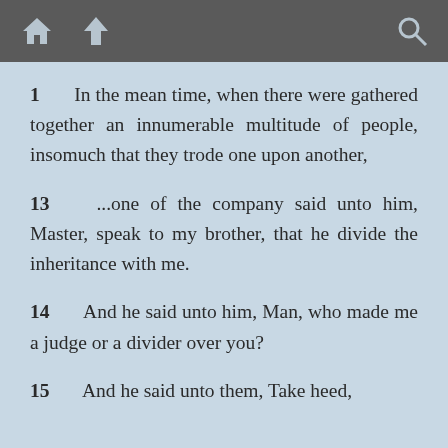toolbar with home, up, and search icons
1    In the mean time, when there were gathered together an innumerable multitude of people, insomuch that they trode one upon another,
13    ...one of the company said unto him, Master, speak to my brother, that he divide the inheritance with me.
14    And he said unto him, Man, who made me a judge or a divider over you?
15    And he said unto them, Take heed,